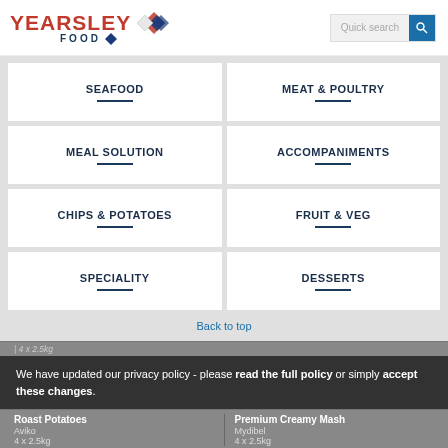[Figure (logo): Yearsley Food logo with red text and diamond shapes]
Quick search
SEAFOOD
MEAT & POULTRY
MEAL SOLUTION
ACCOMPANIMENTS
CHIPS & POTATOES
FRUIT & VEG
SPECIALITY
DESSERTS
Back to top
4 x 2.5kg
We have updated our privacy policy - please read the full policy or simply accept these changes.
Roast Potatoes
Premium Creamy Mash
Aviko
Mydibel
4 x 2.5kg
4 x 2.5kg